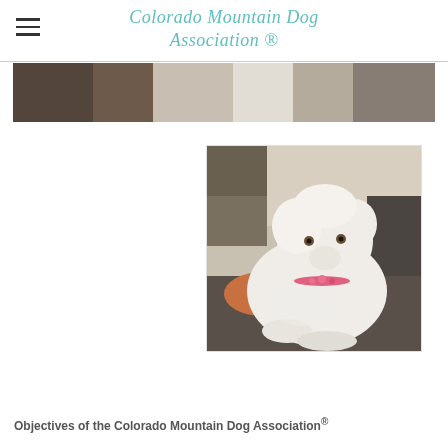Colorado Mountain Dog Association ®
[Figure (photo): Banner photo showing a blurred white dog or animal background, dark tones on left, light in center]
[Figure (photo): Photo of a fluffy white Great Pyrenees or similar mountain dog puppy lying down, wearing a pink collar, resting on a dark surface with a stone/tile background and orange cushion visible]
Objectives of the Colorado Mountain Dog Association®